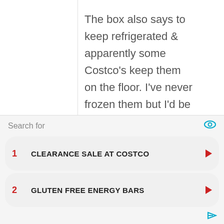The box also says to keep refrigerated & apparently some Costco's keep them on the floor. I've never frozen them but I'd be curious if they lose their consistency after being defrosted. I'll have to give that a try unless someone here has already done it and can chime in
Search for
1 CLEARANCE SALE AT COSTCO
2 GLUTEN FREE ENERGY BARS